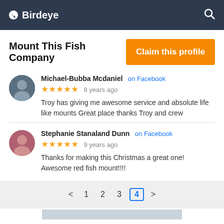Birdeye
Mount This Fish Company
Claim this profile
Michael-Bubba Mcdaniel on Facebook ★★★★★ 8 years ago
Troy has giving me awesome service and absolute life like mounts Great place thanks Troy and crew
Stephanie Stanaland Dunn on Facebook ★★★★★ 9 years ago
Thanks for making this Christmas a great one! Awesome red fish mount!!!!
< 1 2 3 4 >